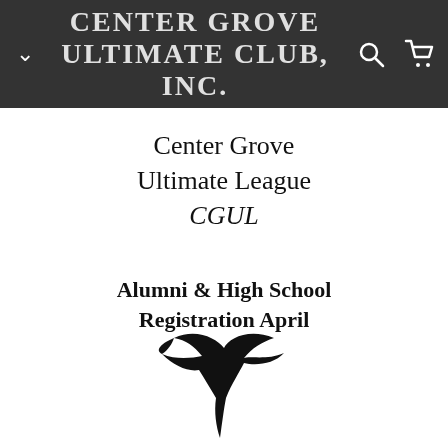CENTER GROVE ULTIMATE CLUB, INC.
Center Grove
Ultimate League
CGUL
Alumni & High School Registration April
[Figure (illustration): Black silhouette of a flying bird (seagull/albatross) against a white background]